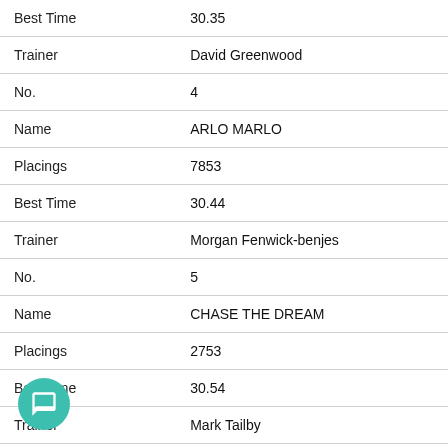| Field | Value |
| --- | --- |
| Best Time | 30.35 |
| Trainer | David Greenwood |
| No. | 4 |
| Name | ARLO MARLO |
| Placings | 7853 |
| Best Time | 30.44 |
| Trainer | Morgan Fenwick-benjes |
| No. | 5 |
| Name | CHASE THE DREAM |
| Placings | 2753 |
| Best Time | 30.54 |
| Trainer | Mark Tailby |
| No. | 6 |
| Name | ASMODEUS |
| Placings | 71 |
| Best Time | 30.10 |
| Trainer | Martin Sinclair |